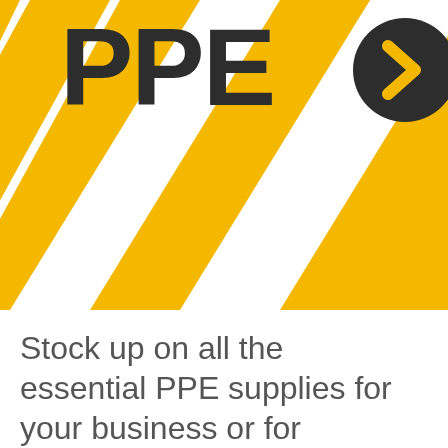[Figure (illustration): Yellow and white diagonal hazard stripes background with large bold dark text 'PPE' and a dark circular arrow icon to the right]
Stock up on all the essential PPE supplies for your business or for